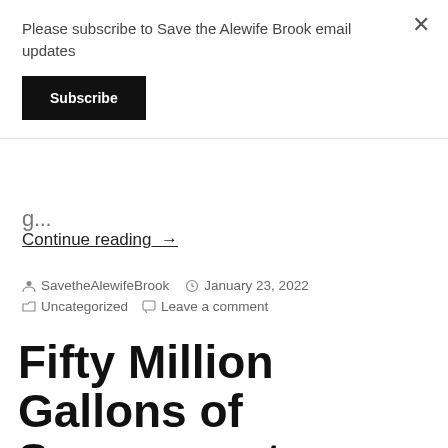Please subscribe to Save the Alewife Brook email updates
Subscribe
Continue reading →
Post author: SavetheAlewifeBrook  January 23, 2022  Uncategorized  Leave a comment
Fifty Million Gallons of Sewage-water Released